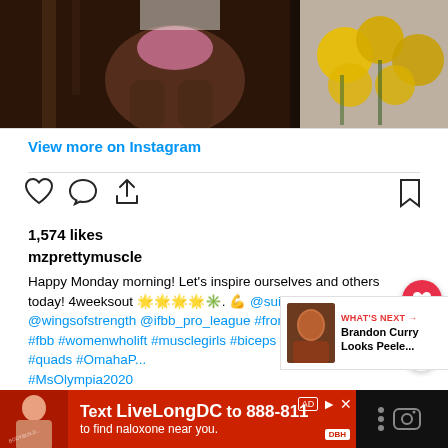[Figure (photo): Instagram post photo showing a muscular person in a pink bikini bottom near a staircase, with yellow flowers visible on the right side]
View more on Instagram
1,574 likes
mzprettymuscle
Happy Monday morning! Let's inspire ourselves and others today! 4weeksout 🌟. 💪 @suitsbym.e @wingsofstrength @ifbb_pro_league #frontlatspread #ifbb #fbb #womenwholift #musclegirls #biceps #shoulders #quads #OmahaP... #MsOlympia2020
view all 40 comments
[Figure (screenshot): What's Next promo box showing Brandon Curry thumbnail and text 'Brandon Curry Looks Peele...']
[Figure (other): Ad bar at bottom: Text LiveLongDC to 888-811 to find naloxone near you.]